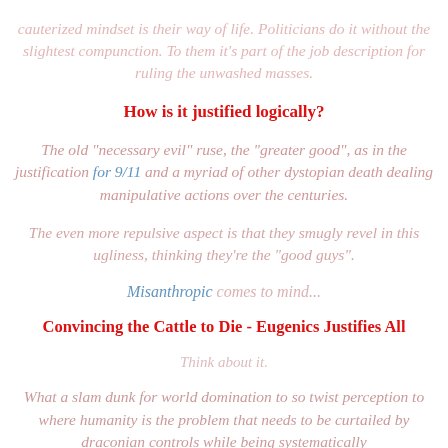cauterized mindset is their way of life. Politicians do it without the slightest compunction. To them it's part of the job description for ruling the unwashed masses.
How is it justified logically?
The old "necessary evil" ruse, the "greater good", as in the justification for 9/11 and a myriad of other dystopian death dealing manipulative actions over the centuries.
The even more repulsive aspect is that they smugly revel in this ugliness, thinking they're the "good guys".
Misanthropic comes to mind...
Convincing the Cattle to Die - Eugenics Justifies All
Think about it.
What a slam dunk for world domination to so twist perception to where humanity is the problem that needs to be curtailed by draconian controls while being systematically